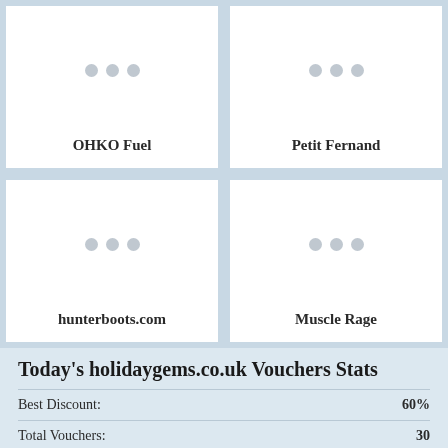[Figure (other): Card with three grey dots placeholder image for OHKO Fuel]
OHKO Fuel
[Figure (other): Card with three grey dots placeholder image for Petit Fernand]
Petit Fernand
[Figure (other): Card with three grey dots placeholder image for hunterboots.com]
hunterboots.com
[Figure (other): Card with three grey dots placeholder image for Muscle Rage]
Muscle Rage
Today's holidaygems.co.uk Vouchers Stats
Best Discount: 60%
Total Vouchers: 30
Total Codes: 14
Faq On holidaygems.co.uk